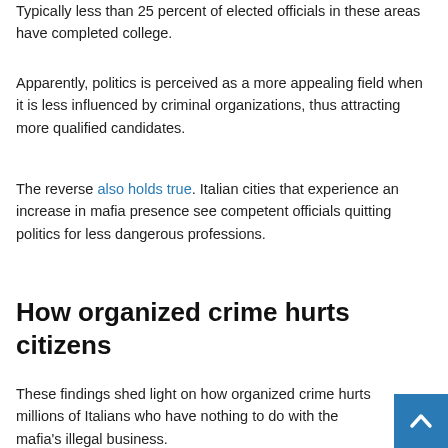Typically less than 25 percent of elected officials in these areas have completed college.
Apparently, politics is perceived as a more appealing field when it is less influenced by criminal organizations, thus attracting more qualified candidates.
The reverse also holds true. Italian cities that experience an increase in mafia presence see competent officials quitting politics for less dangerous professions.
How organized crime hurts citizens
These findings shed light on how organized crime hurts millions of Italians who have nothing to do with the mafia's illegal business.